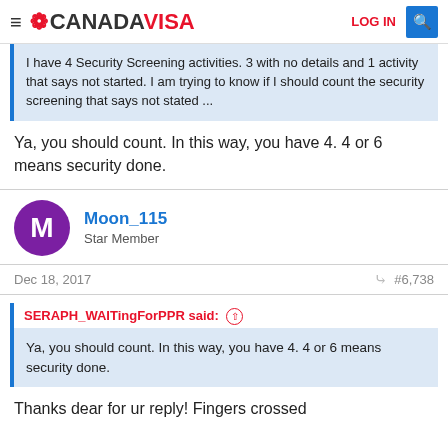≡ ❁ CANADAVISA   LOG IN 🔍
I have 4 Security Screening activities. 3 with no details and 1 activity that says not started. I am trying to know if I should count the security screening that says not stated ...
Ya, you should count. In this way, you have 4. 4 or 6 means security done.
Moon_115
Star Member
Dec 18, 2017   #6,738
SERAPH_WAITingForPPR said: ↑
Ya, you should count. In this way, you have 4. 4 or 6 means security done.
Thanks dear for ur reply! Fingers crossed